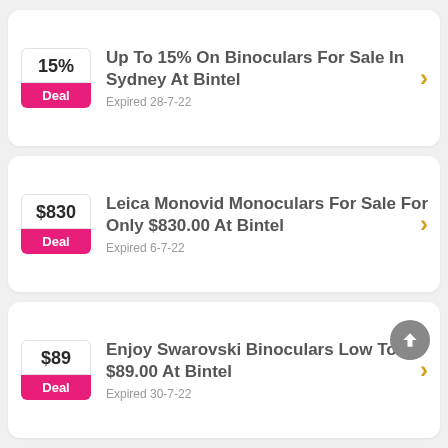15%
Deal
Up To 15% On Binoculars For Sale In Sydney At Bintel
Expired 28-7-22
$830
Deal
Leica Monovid Monoculars For Sale For Only $830.00 At Bintel
Expired 6-7-22
$89
Deal
Enjoy Swarovski Binoculars Low To $89.00 At Bintel
Expired 30-7-22